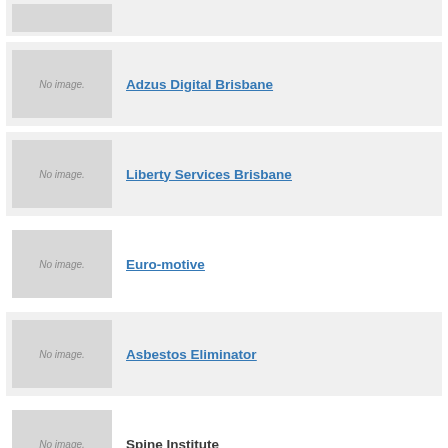[Figure (other): Partial listing row with no-image placeholder at top of page]
Adzus Digital Brisbane
Liberty Services Brisbane
Euro-motive
Asbestos Eliminator
Spine Institute